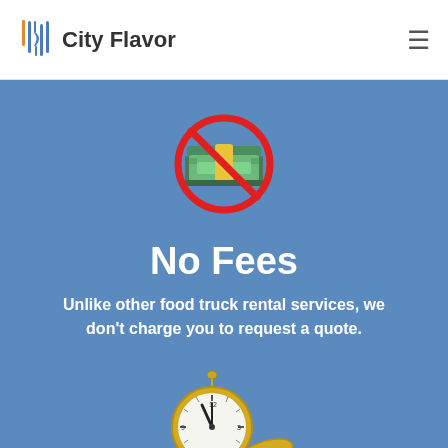City Flavor
[Figure (illustration): No fees icon: a stack of money bills with a red prohibition circle and diagonal slash through it]
No Fees
Unlike other food truck rental services, we don't charge you to request a quote.
[Figure (illustration): A gold pocket watch with clock face showing nearly midnight, with a gold oval/lid beside it]